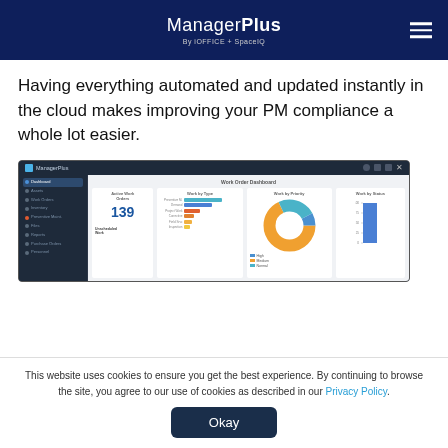ManagerPlus By iOFFICE + SpaceIQ
Having everything automated and updated instantly in the cloud makes improving your PM compliance a whole lot easier.
[Figure (screenshot): ManagerPlus software dashboard screenshot showing Work Order Dashboard with Active Work Orders (139), Work by Type bar chart, Work by Priority donut chart, and Work by Status bar chart.]
This website uses cookies to ensure you get the best experience. By continuing to browse the site, you agree to our use of cookies as described in our Privacy Policy.
Okay